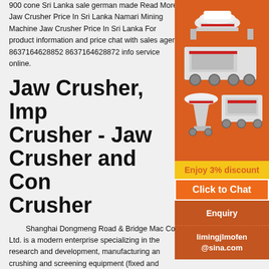900 cone Sri Lanka sale german made Read More Jaw Crusher Price In Sri Lanka Namari Mining Machine Jaw Crusher Price In Sri Lanka For product information and price chat with sales agent 8637164628852 8637164628872 info service online.
Jaw Crusher, Imp Crusher - Jaw Crusher and Cone Crusher
[Figure (photo): Orange sidebar advertisement showing crusher/mining machinery images, yellow 'Enjoy 3% discount' bar, orange 'Click to Chat' button, brown 'Enquiry' section with email limingjlmofen@sina.com]
Shanghai Dongmeng Road & Bridge Mac Co., Ltd. is a modern enterprise specializing in the research and development, manufacturing and crushing and screening equipment (fixed and mobile).Relying on the pioneering and enterprise spirit, the unremitting pursuit of product excell Shanghai's industrial chain advantages.